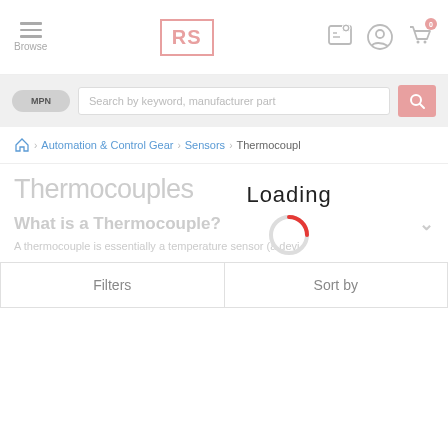[Figure (screenshot): RS Components website header with hamburger menu (Browse), RS logo, location pin icon, user account icon, and cart icon with 0 badge]
[Figure (screenshot): Search bar with MPN toggle and search input placeholder 'Search by keyword, manufacturer part' and pink search button]
Automation & Control Gear > Sensors > Thermocoupl
Thermocouples
What is a Thermocouple?
A thermocouple is essentially a temperature sensor (a devi
[Figure (other): Loading spinner overlay with text 'Loading' and animated circular spinner with red arc]
Filters
Sort by